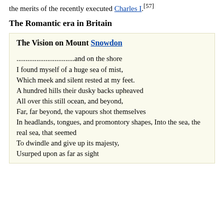the merits of the recently executed Charles I.[57]
The Romantic era in Britain
The Vision on Mount Snowdon

................................and on the shore
I found myself of a huge sea of mist,
Which meek and silent rested at my feet.
A hundred hills their dusky backs upheaved
All over this still ocean, and beyond,
Far, far beyond, the vapours shot themselves
In headlands, tongues, and promontory shapes, Into the sea, the real sea, that seemed
To dwindle and give up its majesty,
Usurped upon as far as sight